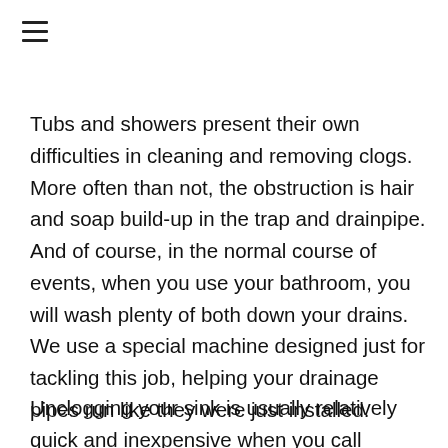[Figure (other): Hamburger menu icon (three horizontal lines)]
Tubs and showers present their own difficulties in cleaning and removing clogs. More often than not, the obstruction is hair and soap build-up in the trap and drainpipe. And of course, in the normal course of events, when you use your bathroom, you will wash plenty of both down your drains. We use a special machine designed just for tackling this job, helping your drainage pipes run like they were just installed.
Unclogging your sink is usually relatively quick and inexpensive when you call Discount